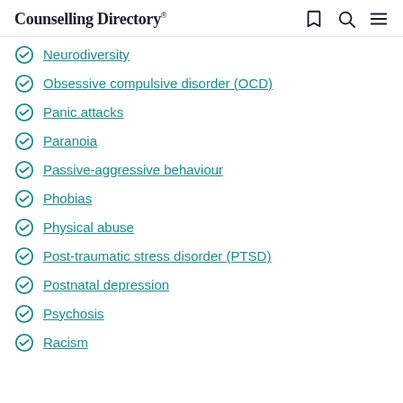Counselling Directory
Neurodiversity
Obsessive compulsive disorder (OCD)
Panic attacks
Paranoia
Passive-aggressive behaviour
Phobias
Physical abuse
Post-traumatic stress disorder (PTSD)
Postnatal depression
Psychosis
Racism